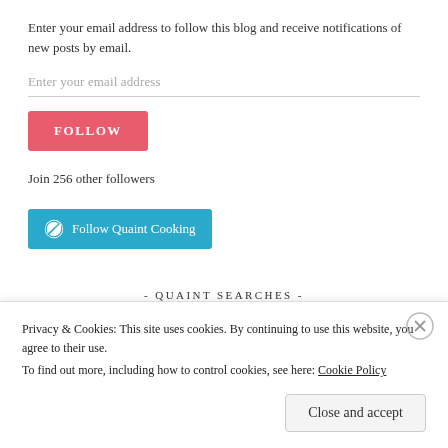Enter your email address to follow this blog and receive notifications of new posts by email.
Enter your email address
[Figure (other): Pink FOLLOW button]
Join 256 other followers
[Figure (other): Teal WordPress Follow Quaint Cooking button]
- QUAINT SEARCHES -
Privacy & Cookies: This site uses cookies. By continuing to use this website, you agree to their use.
To find out more, including how to control cookies, see here: Cookie Policy
Close and accept